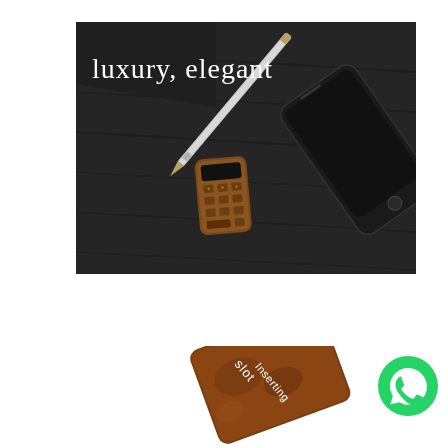[Figure (photo): Top-down view of a dark desk with a small wooden/gold calculator, a silver pen, and a dark smartphone. Text overlay reads 'luxury, elegant' in white.]
[Figure (photo): Close-up of a wooden/burl device showing text 'slot' and 'Inserting' in white letters, partially cropped at bottom of page.]
[Figure (logo): WhatsApp green circular logo with phone handset icon.]